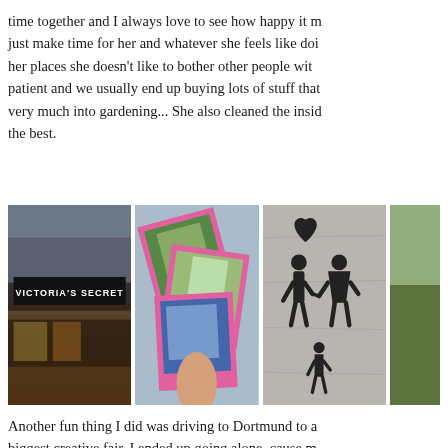time together and I always love to see how happy it m just make time for her and whatever she feels like doi her places she doesn't like to bother other people wit patient and we usually end up buying lots of stuff that very much into gardening... She also cleaned the insid the best.
[Figure (photo): Four photos in a row: 1) Victoria's Secret store interior with dark signage, 2) Hand holding pink-bordered polaroid photos, 3) Graffiti of couple holding hands with heart above on concrete wall, 4) Partial outdoor photo.]
Another fun thing I did was driving to Dortmund to a biggest creative fair. I ended up going alone, cause m